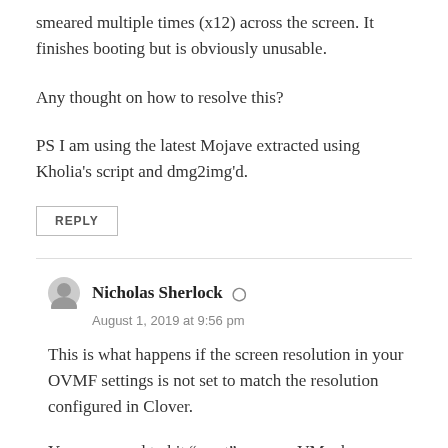smeared multiple times (x12) across the screen. It finishes booting but is obviously unusable.
Any thought on how to resolve this?
PS I am using the latest Mojave extracted using Kholia's script and dmg2img'd.
REPLY
Nicholas Sherlock
August 1, 2019 at 9:56 pm
This is what happens if the screen resolution in your OVMF settings is not set to match the resolution configured in Clover.
You may need to hit “reset” on your VM when you